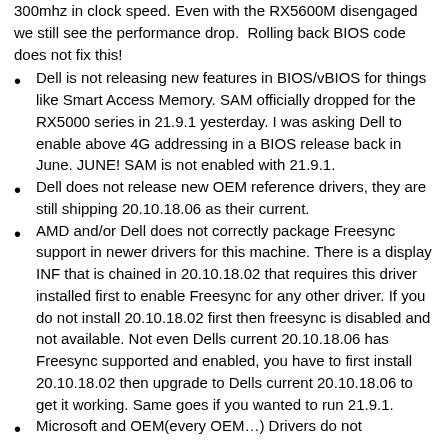300mhz in clock speed. Even with the RX5600M disengaged we still see the performance drop. Rolling back BIOS code does not fix this!
Dell is not releasing new features in BIOS/vBIOS for things like Smart Access Memory. SAM officially dropped for the RX5000 series in 21.9.1 yesterday. I was asking Dell to enable above 4G addressing in a BIOS release back in June. JUNE! SAM is not enabled with 21.9.1.
Dell does not release new OEM reference drivers, they are still shipping 20.10.18.06 as their current.
AMD and/or Dell does not correctly package Freesync support in newer drivers for this machine. There is a display INF that is chained in 20.10.18.02 that requires this driver installed first to enable Freesync for any other driver. If you do not install 20.10.18.02 first then freesync is disabled and not available. Not even Dells current 20.10.18.06 has Freesync supported and enabled, you have to first install 20.10.18.02 then upgrade to Dells current 20.10.18.06 to get it working. Same goes if you wanted to run 21.9.1.
Microsoft and OEM(every OEM…) Drivers do not